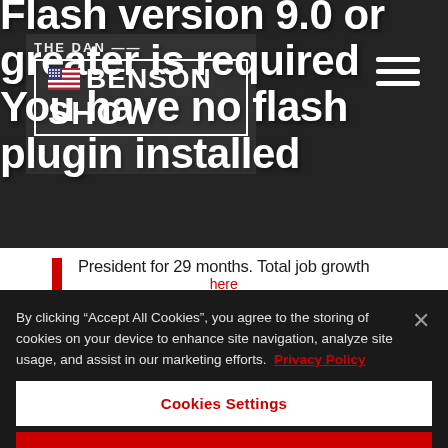[Figure (screenshot): Hero background section showing website header with 'The Dan Benson Show' logo, hamburger menu icon, and large white bold text reading 'Flash version 9.0 or greater is required You have no flash plugin installed'. Dark overlay on background image with people. White strip below hero showing partial text 'President for 29 months. Total job growth here']
By clicking “Accept All Cookies”, you agree to the storing of cookies on your device to enhance site navigation, analyze site usage, and assist in our marketing efforts. Privacy Policy
Cookies Settings
Reject All
Accept All Cookies